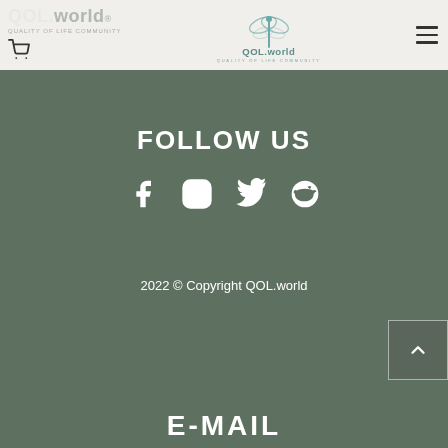[Figure (logo): QOL.world logo in header left with cart icon below]
[Figure (logo): Central QOL.world dragonfly logo with 'QUALITY OF LIFE COMMUNITY' tagline]
[Figure (other): Hamburger menu icon (three horizontal lines) in top right]
FOLLOW US
[Figure (other): Social media icons: Facebook, Instagram, Twitter, Reddit]
2022 © Copyright QOL.world
[Figure (other): Scroll-to-top button with upward chevron arrow]
E-MAIL